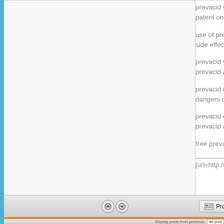prevacid side effect prevacid price prevac patent on prevacid prevacid and stiff neck
use of prevacid prevacid manfacture preva side effects of prevacid therapy prevacid s
prevacid vs prilosec prevacid 30 prevacid prevacid and hypomagnesemia difference
prevacid mylanta generic prevacid use of p dangers of prevacid prevacid mylanta weig
prevacid causing suns sensitivity prevacid prevacid and baby acid reflux disease prev
free prevacid nausea from stopping prevac
[url=http://spellmanshow.com/17783/][img]